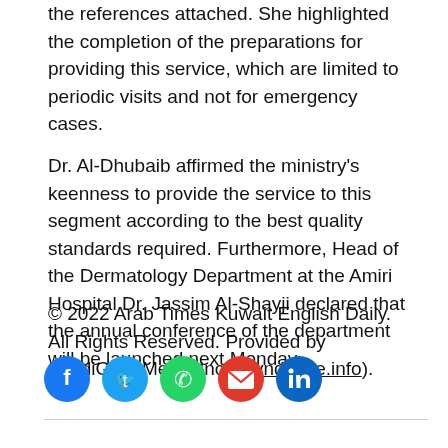the references attached. She highlighted the completion of the preparations for providing this service, which are limited to periodic visits and not for emergency cases.
Dr. Al-Dhubaib affirmed the ministry's keenness to provide the service to this segment according to the best quality standards required. Furthermore, Head of the Dermatology Department at the Amiri Hospital Dr. Jassim Al-Shayji declared that the annual conference of the department will be launched next Monday.
© 2022 Arab Times Kuwait English Daily. All Rights Reserved. Provided by SyndiGate Media Inc. (Syndigate.info).
[Figure (other): Social media share buttons: Facebook (blue circle), Twitter (cyan circle), WhatsApp (green circle), Email (red circle), LinkedIn (blue circle)]